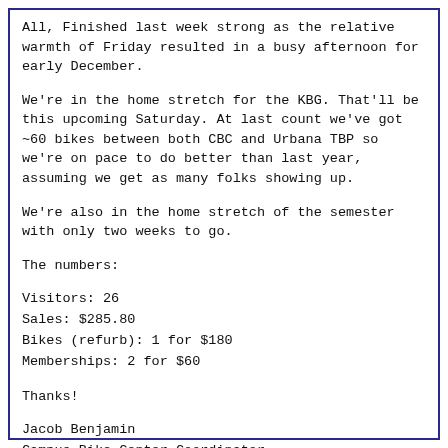All, Finished last week strong as the relative warmth of Friday resulted in a busy afternoon for early December.
We're in the home stretch for the KBG. That'll be this upcoming Saturday. At last count we've got ~60 bikes between both CBC and Urbana TBP so we're on pace to do better than last year, assuming we get as many folks showing up.
We're also in the home stretch of the semester with only two weeks to go.
The numbers:
Visitors: 26
Sales: $285.80
Bikes (refurb): 1 for $180
Memberships: 2 for $60
Thanks!
Jacob Benjamin
Campus Bike Center Coordinator